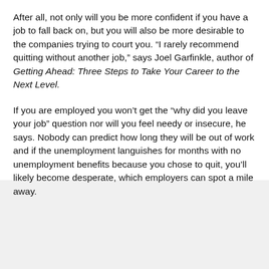After all, not only will you be more confident if you have a job to fall back on, but you will also be more desirable to the companies trying to court you. “I rarely recommend quitting without another job,” says Joel Garfinkle, author of Getting Ahead: Three Steps to Take Your Career to the Next Level.
If you are employed you won’t get the “why did you leave your job” question nor will you feel needy or insecure, he says. Nobody can predict how long they will be out of work and if the unemployment languishes for months with no unemployment benefits because you chose to quit, you’ll likely become desperate, which employers can spot a mile away.